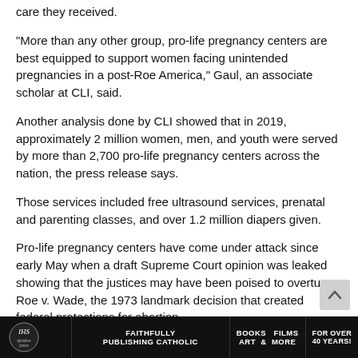care they received.
“More than any other group, pro-life pregnancy centers are best equipped to support women facing unintended pregnancies in a post-Roe America,” Gaul, an associate scholar at CLI, said.
Another analysis done by CLI showed that in 2019, approximately 2 million women, men, and youth were served by more than 2,700 pro-life pregnancy centers across the nation, the press release says.
Those services included free ultrasound services, prenatal and parenting classes, and over 1.2 million diapers given.
Pro-life pregnancy centers have come under attack since early May when a draft Supreme Court opinion was leaked showing that the justices may have been poised to overturn Roe v. Wade, the 1973 landmark decision that created federal protections for abortion.
Ignatius Press | FAITHFULLY PUBLISHING CATHOLIC | BOOKS FILMS ART & MORE | FOR OVER 40 YEARS!